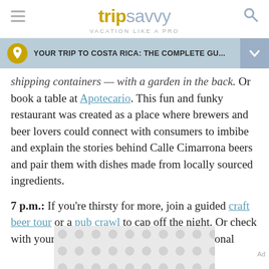trip savvy VACATION LIKE A PRO
YOUR TRIP TO COSTA RICA: THE COMPLETE GU...
shipping containers — with a garden in the back. Or book a table at Apotecario. This fun and funky restaurant was created as a place where brewers and beer lovers could connect with consumers to imbibe and explain the stories behind Calle Cimarrona beers and pair them with dishes made from locally sourced ingredients.
7 p.m.: If you're thirsty for more, join a guided craft beer tour or a pub crawl to cap off the night. Or check with your hotel. GAM Cultural, and the National